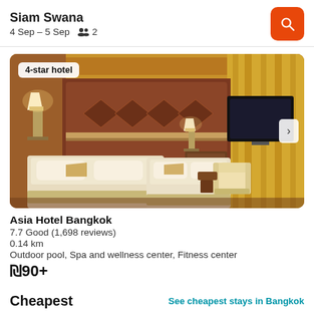Siam Swana
4 Sep – 5 Sep   2
[Figure (photo): Hotel room interior showing twin beds with beige/cream bedding, warm wooden paneling headboard with diamond pattern upholstery, bedside lamps, a large flat-screen TV on the right wall, armchairs, and cream curtains. Warm amber lighting throughout.]
4-star hotel
Asia Hotel Bangkok
7.7 Good (1,698 reviews)
0.14 km
Outdoor pool, Spa and wellness center, Fitness center
₪90+
Cheapest
See cheapest stays in Bangkok